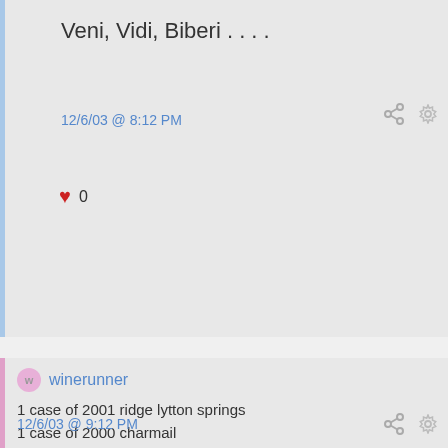Veni, Vidi, Biberi . . . .
12/6/03 @ 8:12 PM
0
winerunner
1 case of 2001 ridge lytton springs
1 case of 2000 charmail
3 bottles of 1987 laurel glen
9 bottle of 1999 newton cabernet
3 bottles of 1999 la fleur bouard
3 bottles 2000 reignac
6 bottles 2001 turley moore earthquake
12/6/03 @ 9:12 PM